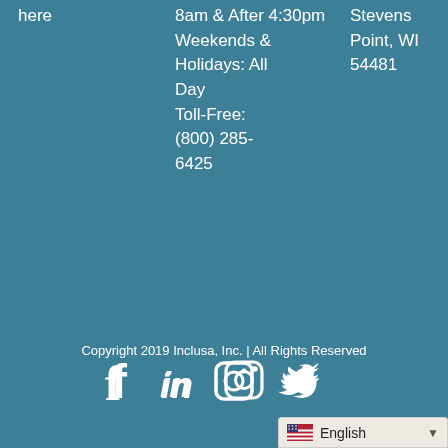here
8am & After 4:30pm Weekends & Holidays: All Day Toll-Free: (800) 285-6425
Stevens Point, WI 54481
Copyright 2019 Inclusa, Inc. | All Rights Reserved
[Figure (infographic): Social media icons: Facebook, LinkedIn, Instagram, Twitter]
English